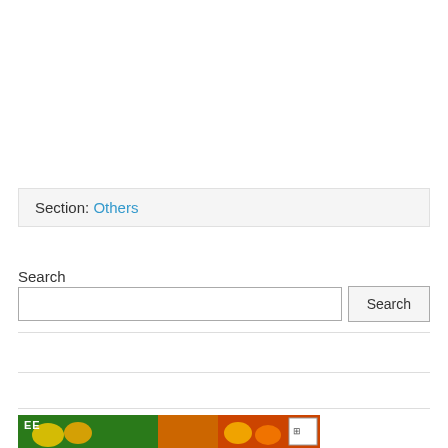Section: Others
Search
[Figure (screenshot): Search input field with Search button]
[Figure (photo): Advertisement banner with green and orange background showing fruit imagery and FREE text]